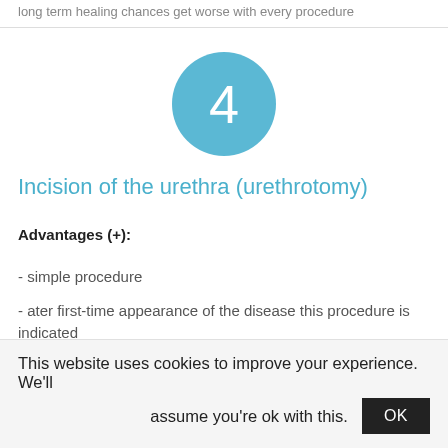long-term healing chances get worse with every procedure
[Figure (illustration): Light blue circle with white number 4 in the center]
Incision of the urethra (urethrotomy)
Advantages (+):
- simple procedure
- ater first-time appearance of the disease this procedure is indicated
This website uses cookies to improve your experience. We'll assume you're ok with this. OK